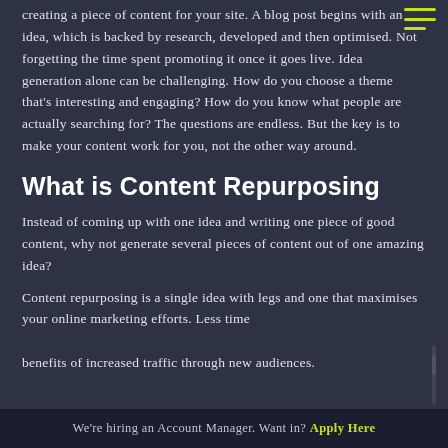creating a piece of content for your site. A blog post begins with an idea, which is backed by research, developed and then optimised. Not forgetting the time spent promoting it once it goes live. Idea generation alone can be challenging. How do you choose a theme that's interesting and engaging? How do you know what people are actually searching for? The questions are endless. But the key is to make your content work for you, not the other way around.
What is Content Repurposing
Instead of coming up with one idea and writing one piece of good content, why not generate several pieces of content out of one amazing idea?
Content repurposing is a single idea with legs and one that maximises your online marketing efforts. Less time ... benefits of increased traffic through new audiences.
We're hiring an Account Manager. Want in? Apply Here